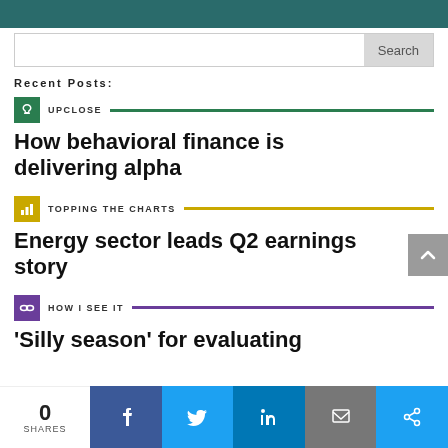Search
Recent Posts:
UPCLOSE — How behavioral finance is delivering alpha
TOPPING THE CHARTS — Energy sector leads Q2 earnings story
HOW I SEE IT — 'Silly season' for evaluating
0 SHARES